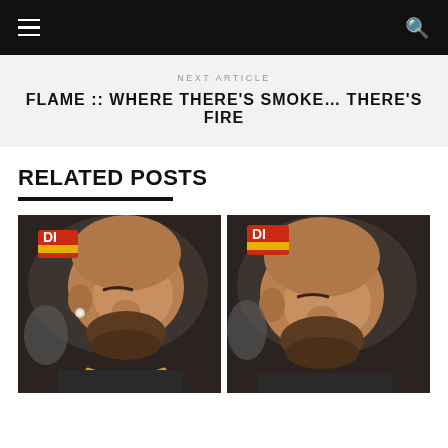NEXT ARTICLE
FLAME :: WHERE THERE'S SMOKE… THERE'S FIRE
RELATED POSTS
[Figure (photo): Two side-by-side photos of a bald heavyset Black man with a beard, wearing a diamond stud earring and a gold chain necklace, with a red and yellow cap visible in the background. The images appear to be slightly different crops of the same photo.]